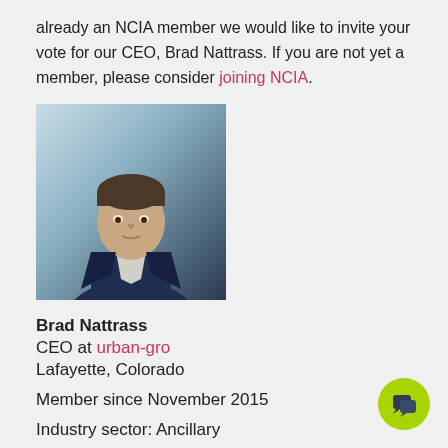already an NCIA member we would like to invite your vote for our CEO, Brad Nattrass. If you are not yet a member, please consider joining NCIA.
[Figure (photo): Headshot of Brad Nattrass, a man in a navy blue blazer and open-collar white shirt, photographed against a light teal/blue background.]
Brad Nattrass
CEO at urban-gro
Lafayette, Colorado
Member since November 2015
Industry sector: Ancillary
Board Candidate – Brad Nattrass, CEO of urban-